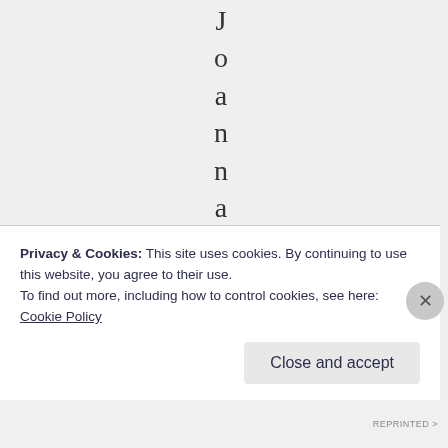Joanna, sreq
Privacy & Cookies: This site uses cookies. By continuing to use this website, you agree to their use.
To find out more, including how to control cookies, see here: Cookie Policy
Close and accept